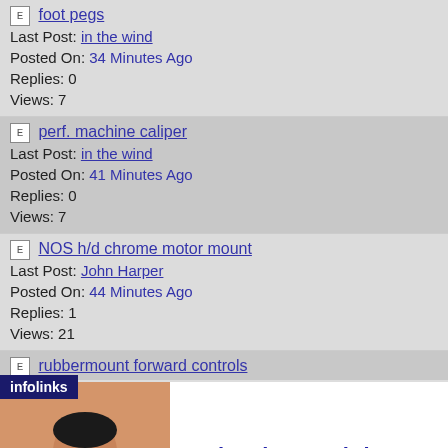foot pegs
Last Post: in the wind
Posted On: 34 Minutes Ago
Replies: 0
Views: 7
perf. machine caliper
Last Post: in the wind
Posted On: 41 Minutes Ago
Replies: 0
Views: 7
NOS h/d chrome motor mount
Last Post: John Harper
Posted On: 44 Minutes Ago
Replies: 1
Views: 21
rubbermount forward controls
Last Post: in the wind
Posted On: 46 Minutes Ago
Replies: 0
Views: 8
plastic bobtail fender
Last Post: in the wind
[Figure (photo): Advertisement banner: Doctor/medical professional photo on left, text 'Relapsing-remitting MS Medication: Finding' with 'n/a' below, blue arrow button on right. Infolinks branding visible.]
Relapsing-remitting MS Medication: Finding
n/a